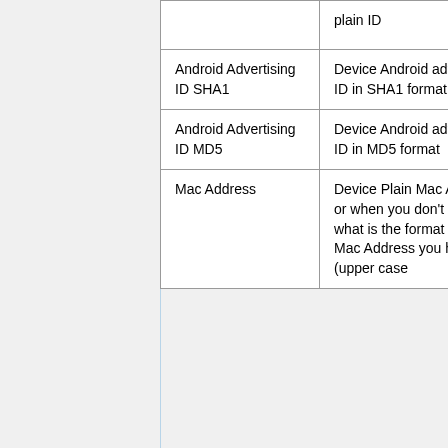|  |  |  |
| --- | --- | --- |
|  | plain ID |  |
| Android Advertising ID SHA1 | Device Android advertising ID in SHA1 format | tt_advertising_id=3... |
| Android Advertising ID MD5 | Device Android advertising ID in MD5 format | tt_advertising_id=2... |
| Mac Address | Device Plain Mac Address or when you don't know what is the format of the Mac Address you have. (upper case | tt_mac=44:2A:60:G... |